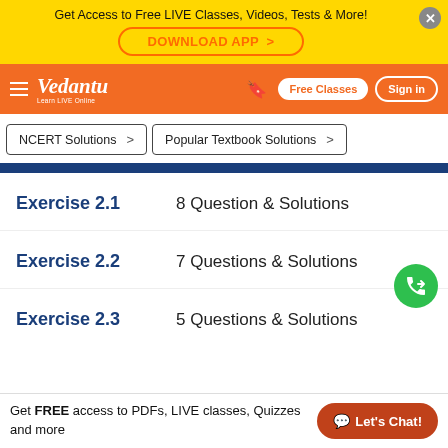Get Access to Free LIVE Classes, Videos, Tests & More! DOWNLOAD APP >
[Figure (screenshot): Vedantu navigation bar with logo, bookmark, Free Classes and Sign in buttons]
NCERT Solutions > | Popular Textbook Solutions >
Exercise 2.1 — 8 Question & Solutions
Exercise 2.2 — 7 Questions & Solutions
Exercise 2.3 — 5 Questions & Solutions
Get FREE access to PDFs, LIVE classes, Quizzes and more | Let's Chat!